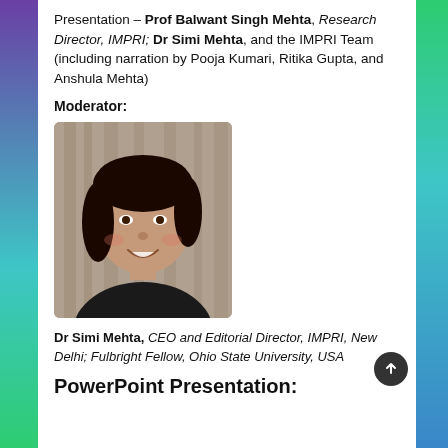Presentation – Prof Balwant Singh Mehta, Research Director, IMPRI; Dr Simi Mehta, and the IMPRI Team (including narration by Pooja Kumari, Ritika Gupta, and Anshula Mehta)
Moderator:
[Figure (photo): Portrait photo of Dr Simi Mehta, a woman with dark hair, smiling, wearing a dark top, photographed in front of a background with vertical bars.]
Dr Simi Mehta, CEO and Editorial Director, IMPRI, New Delhi; Fulbright Fellow, Ohio State University, USA
PowerPoint Presentation: